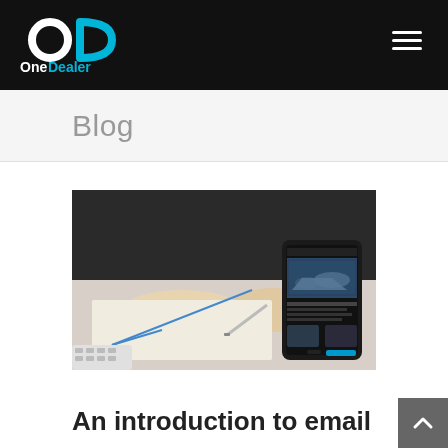OneDealer
Blog
[Figure (photo): Person in business suit writing on paper at a desk while holding a smartphone displaying a car dealer mobile website with vehicle images.]
An introduction to email